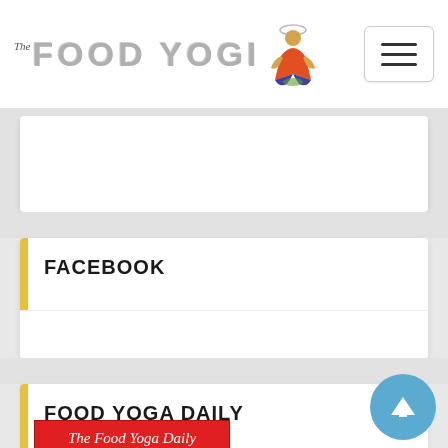The Food Yogi
FACEBOOK
FOOD YOGA DAILY
[Figure (other): The Food Yoga Daily newsletter thumbnail with red banner header and date 8/19/2022]
[Figure (other): Blue circular up-arrow scroll-to-top button]